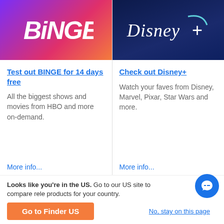[Figure (logo): BINGE streaming service logo — white italic bold text on purple-to-red-to-orange gradient background]
[Figure (logo): Disney+ logo — white cursive Disney text with + symbol and teal arc on dark navy background]
Test out BINGE for 14 days free
All the biggest shows and movies from HBO and more on-demand.
More info...
Check out Disney+
Watch your faves from Disney, Marvel, Pixar, Star Wars and more.
More info...
Looks like you're in the US. Go to our US site to compare rele products for your country.
Go to Finder US
No, stay on this page